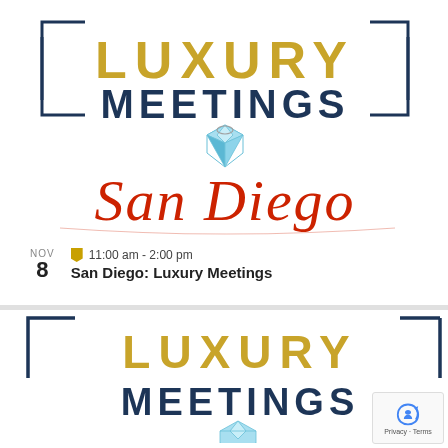[Figure (logo): Luxury Meetings San Diego logo with diamond gem icon and cursive San Diego text in red]
NOV
8    11:00 am - 2:00 pm
     San Diego: Luxury Meetings
[Figure (logo): Luxury Meetings logo (partial, bottom of page) showing LUXURY MEETINGS text with bracket frame and diamond gem]